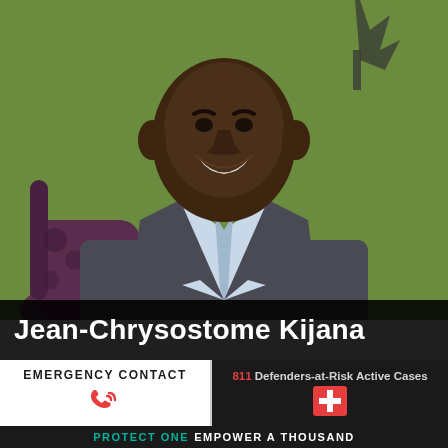[Figure (photo): Portrait photo of Jean-Chrysostome Kijana, a smiling man in a grey suit jacket and light blue shirt, seated against a green background.]
Jean-Chrysostome Kijana
EMERGENCY CONTACT
811 Defenders-at-Risk Active Cases
PROTECT ONE EMPOWER A THOUSAND